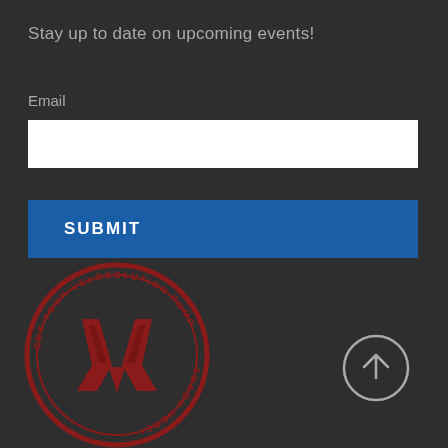Stay up to date on upcoming events!
Email
[Figure (logo): Velosolution circular stamp logo in red with text 'GET YOUR VELOSOLUTION PUMP TRACK HERE!' around the border and a stylized V bike logo in the center]
[Figure (other): Circular scroll-to-top button with upward arrow, grey outline on dark background]